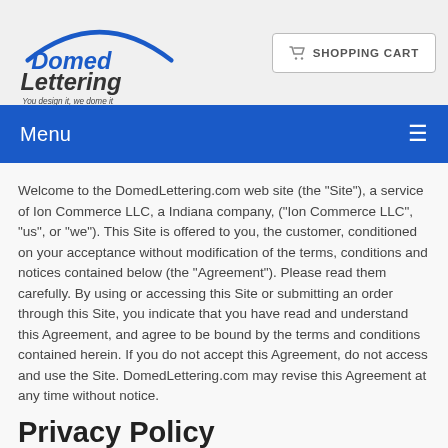[Figure (logo): Domed Lettering logo with arc and text 'You design it, we dome it']
SHOPPING CART
Menu
Welcome to the DomedLettering.com web site (the "Site"), a service of Ion Commerce LLC, a Indiana company, ("Ion Commerce LLC", "us", or "we"). This Site is offered to you, the customer, conditioned on your acceptance without modification of the terms, conditions and notices contained below (the "Agreement"). Please read them carefully. By using or accessing this Site or submitting an order through this Site, you indicate that you have read and understand this Agreement, and agree to be bound by the terms and conditions contained herein. If you do not accept this Agreement, do not access and use the Site. DomedLettering.com may revise this Agreement at any time without notice.
Privacy Policy